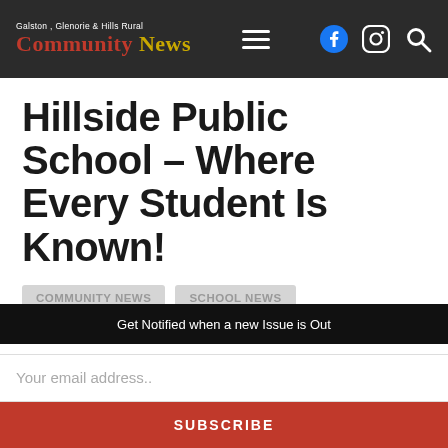Galston, Glenorie & Hills Rural Community News
Hillside Public School – Where Every Student Is Known!
COMMUNITY NEWS
SCHOOL NEWS
Students at Hillside Public School develop strong
Get Notified when a new Issue is Out
Your email address..
SUBSCRIBE